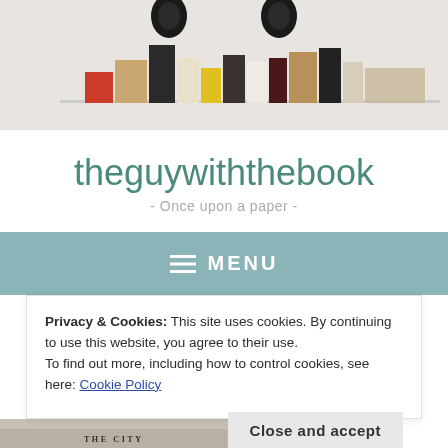[Figure (photo): Photo of headphones hanging above a shelf with colorful books and small objects on a white/cream background]
theguywiththebook
- Once upon a paper -
≡ MENU
Privacy & Cookies: This site uses cookies. By continuing to use this website, you agree to their use.
To find out more, including how to control cookies, see here: Cookie Policy
Close and accept
[Figure (photo): Partial view of a book cover showing THE CITY text and decorative illustration]